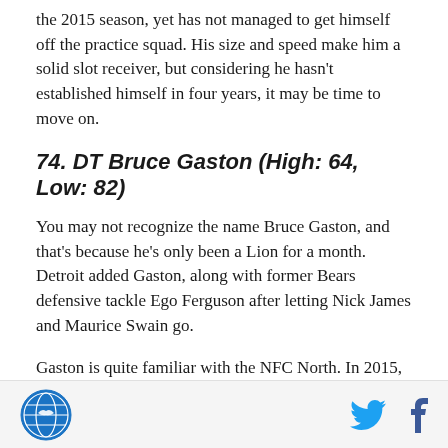the 2015 season, yet has not managed to get himself off the practice squad. His size and speed make him a solid slot receiver, but considering he hasn't established himself in four years, it may be time to move on.
74. DT Bruce Gaston (High: 64, Low: 82)
You may not recognize the name Bruce Gaston, and that's because he's only been a Lion for a month. Detroit added Gaston, along with former Bears defensive tackle Ego Ferguson after letting Nick James and Maurice Swain go.
Gaston is quite familiar with the NFC North. In 2015, he played two games with the Packers and seven with